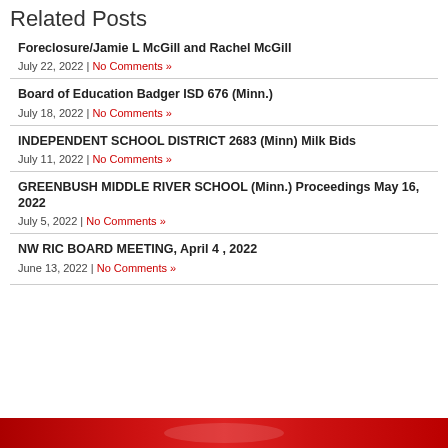Related Posts
Foreclosure/Jamie L McGill and Rachel McGill
July 22, 2022 | No Comments »
Board of Education Badger ISD 676 (Minn.)
July 18, 2022 | No Comments »
INDEPENDENT SCHOOL DISTRICT 2683 (Minn) Milk Bids
July 11, 2022 | No Comments »
GREENBUSH MIDDLE RIVER SCHOOL (Minn.) Proceedings May 16, 2022
July 5, 2022 | No Comments »
NW RIC BOARD MEETING, April 4 , 2022
June 13, 2022 | No Comments »
[Figure (photo): Red banner image at the bottom of the page]